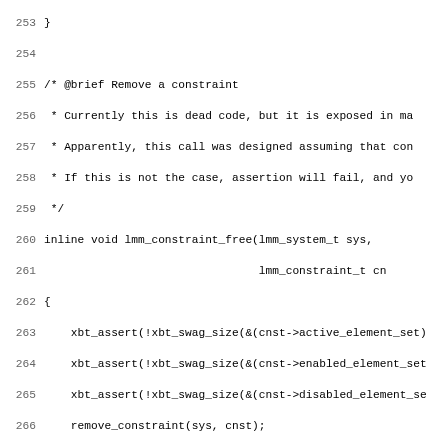[Figure (screenshot): Source code listing in monospace font with line numbers 253–285, showing C code for lmm_constraint_free, lmm_variable_mallocator_new_f, lmm_variable_mallocator_free_f, and lmm_variable_new functions.]